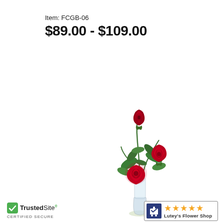Item: FCGB-06
$89.00 - $109.00
[Figure (photo): Three red roses with green foliage arranged in a clear glass vase, on a white background.]
[Figure (logo): TrustedSite CERTIFIED SECURE badge with green checkmark logo.]
[Figure (logo): Lutey's Flower Shop badge with shopping cart icon and five orange stars.]